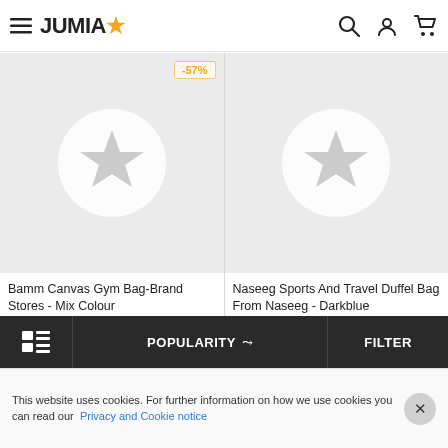JUMIA* — navigation header with hamburger menu, search, account, and cart icons
[Figure (screenshot): Product image placeholder for Bamm Canvas Gym Bag — light grey background with white circle containing a white star icon. Discount badge showing -57%.]
[Figure (screenshot): Product image placeholder for Naseeg Sports And Travel Duffel Bag — light grey background with white circle containing a white star icon.]
Bamm Canvas Gym Bag-Brand Stores - Mix Colour
EGP 125.00 EGP 290.00
Naseeg Sports And Travel Duffel Bag From Naseeg - Darkblue
EGP 375.00
POPULARITY ∨  FILTER
This website uses cookies. For further information on how we use cookies you can read our Privacy and Cookie notice